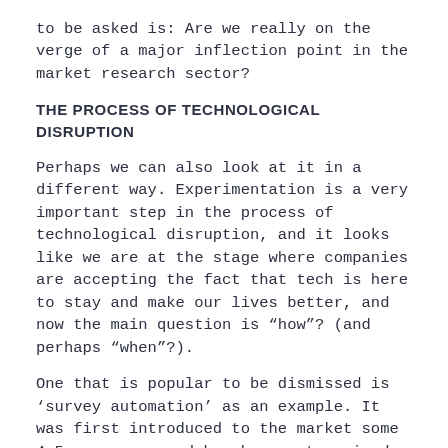to be asked is: Are we really on the verge of a major inflection point in the market research sector?
THE PROCESS OF TECHNOLOGICAL DISRUPTION
Perhaps we can also look at it in a different way. Experimentation is a very important step in the process of technological disruption, and it looks like we are at the stage where companies are accepting the fact that tech is here to stay and make our lives better, and now the main question is “how”? (and perhaps “when”?).
One that is popular to be dismissed is ‘survey automation’ as an example. It was first introduced to the market some 4-5 years ago and has been categorized as a “nice productivity tool”, probably rightfully so, as it was mostly rigid and generally limited in terms of high-stakes benefit. If we agree that survey research is still going to play an important role in consumer insights and that costs and